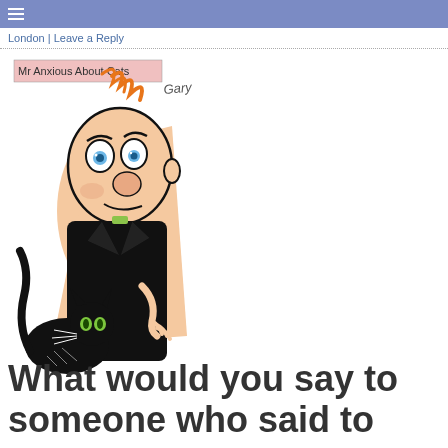≡
London | Leave a Reply
[Figure (illustration): Cartoon illustration labeled 'Mr Anxious About Cats' by Gary. Shows a bald anxious-looking man with blue eyes wearing a black outfit, with a black cat rubbing against him. Orange wavy lines in background.]
What would you say to someone who said to you